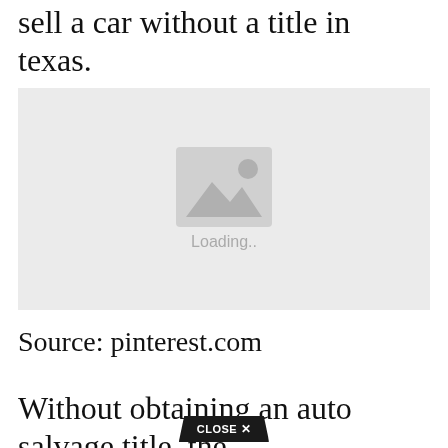sell a car without a title in texas.
[Figure (photo): Image placeholder with loading indicator showing a mountain/image icon and 'Loading..' text on a light grey background]
Source: pinterest.com
Without obtaining an auto salvage title, the